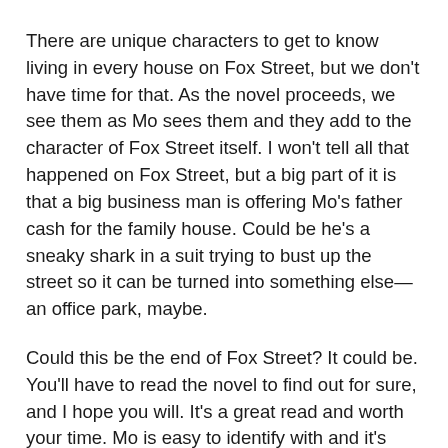There are unique characters to get to know living in every house on Fox Street, but we don't have time for that. As the novel proceeds, we see them as Mo sees them and they add to the character of Fox Street itself. I won't tell all that happened on Fox Street, but a big part of it is that a big business man is offering Mo's father cash for the family house. Could be he's a sneaky shark in a suit trying to bust up the street so it can be turned into something else—an office park, maybe.
Could this be the end of Fox Street? It could be. You'll have to read the novel to find out for sure, and I hope you will. It's a great read and worth your time. Mo is easy to identify with and it's hard not to root for someone fighting to save their childhood neighborhood and way of life. I think people never quite live anywhere as wonderful as where they spent their childhood provided their childhood was not awful.
On its surface, What Happened on Fox Street is a book about nostalgia and the constant changing nature of life, not always for the better. It's also about how connected each of